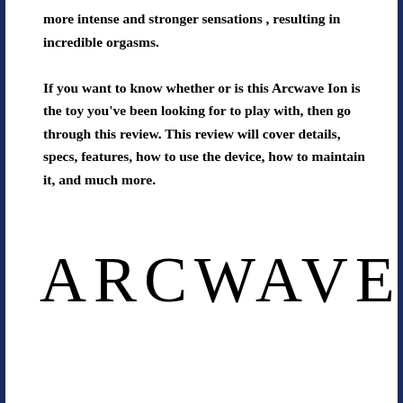more intense and stronger sensations , resulting in incredible orgasms.

If you want to know whether or is this Arcwave Ion is the toy you've been looking for to play with, then go through this review. This review will cover details, specs, features, how to use the device, how to maintain it, and much more.
[Figure (logo): Arcwave TM brand logo in large serif letters]